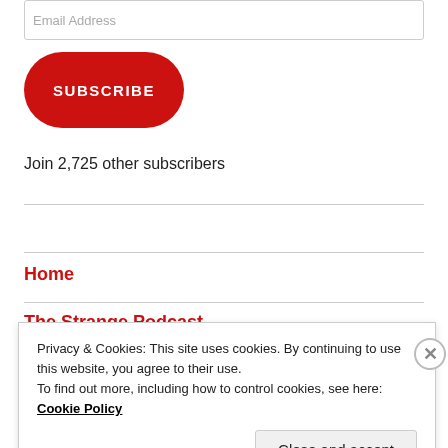Email Address
SUBSCRIBE
Join 2,725 other subscribers
Home
The Strange Podcast
Privacy & Cookies: This site uses cookies. By continuing to use this website, you agree to their use. To find out more, including how to control cookies, see here: Cookie Policy
Close and accept